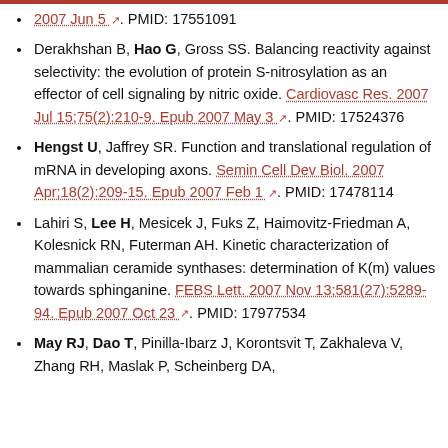2007 Jun 5 [external link]. PMID: 17551091
Derakhshan B, Hao G, Gross SS. Balancing reactivity against selectivity: the evolution of protein S-nitrosylation as an effector of cell signaling by nitric oxide. Cardiovasc Res. 2007 Jul 15;75(2):210-9. Epub 2007 May 3 [external link]. PMID: 17524376
Hengst U, Jaffrey SR. Function and translational regulation of mRNA in developing axons. Semin Cell Dev Biol. 2007 Apr;18(2):209-15. Epub 2007 Feb 1 [external link]. PMID: 17478114
Lahiri S, Lee H, Mesicek J, Fuks Z, Haimovitz-Friedman A, Kolesnick RN, Futerman AH. Kinetic characterization of mammalian ceramide synthases: determination of K(m) values towards sphinganine. FEBS Lett. 2007 Nov 13;581(27):5289-94. Epub 2007 Oct 23 [external link]. PMID: 17977534
May RJ, Dao T, Pinilla-Ibarz J, Korontsvit T, Zakhaleva V, Zhang RH, Maslak P, Scheinberg DA,